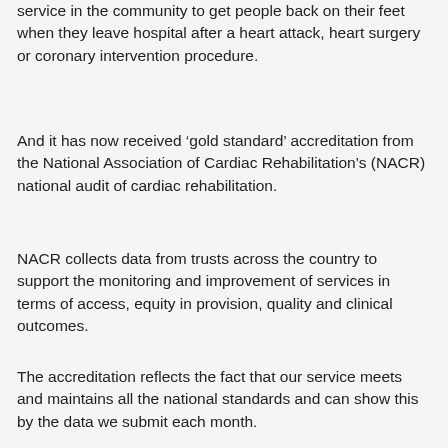Queensbury Health Centre provides a vital service in the community to get people back on their feet when they leave hospital after a heart attack, heart surgery or coronary intervention procedure.
And it has now received ‘gold standard’ accreditation from the National Association of Cardiac Rehabilitation’s (NACR) national audit of cardiac rehabilitation.
NACR collects data from trusts across the country to support the monitoring and improvement of services in terms of access, equity in provision, quality and clinical outcomes.
The accreditation reflects the fact that our service meets and maintains all the national standards and can show this by the data we submit each month.